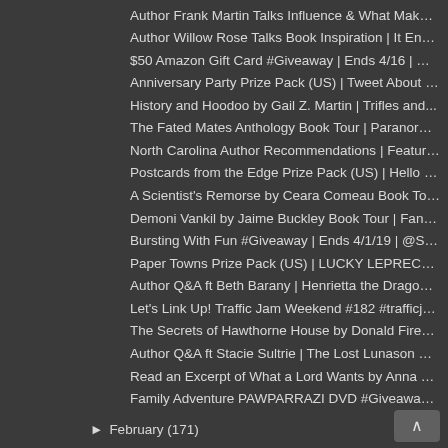Author Frank Martin Talks Influence & What Makes a...
Author Willow Rose Talks Book Inspiration | It End...
$50 Amazon Gift Card #Giveaway | Ends 4/16 | @home...
Anniversary Party Prize Pack (US) | Tweet About It...
History and Hoodoo by Gail Z. Martin | Trifles and...
The Fated Mates Anthology Book Tour | Paranormal R...
North Carolina Author Recommendations | Featuring...
Postcards from the Edge Prize Pack (US) | Hello Sp...
A Scientist's Remorse by Ceara Comeau Book Tour | ...
Demoni Vankil by Jaime Buckley Book Tour | Fantasy...
Bursting With Fun #Giveaway | Ends 4/1/19 | @SMGur...
Paper Towns Prize Pack (US) | LUCKY LEPRECHAUN #Gi...
Author Q&A ft Beth Barany | Henrietta the Dragon S...
Let's Link Up! Traffic Jam Weekend #182 #trafficja...
The Secrets of Hawthorne House by Donald Firesmith...
Author Q&A ft Stacie Sultrie | The Lost Lunason Se...
Read an Excerpt of What a Lord Wants by Anna Harri...
Family Adventure PAWPARRAZI DVD #Giveaway | Ends 4...
National Pancake Day | Featuring @insanereader & S...
Author Sara Harris Talks About Writing Inspiration...
Two Questions with Michael Smorenburg | Slave Ship...
Shopping for a Billionaire's Baby by Julia Kent bl...
Author Leslie Scott Shares a Little About Her Hero...
Author Q&A ft Maria Geraci | BEACH BLANKET HOMICID...
Author Guest Post & Excerpt | THE TURSIOPS SYNDROM...
DEATH BY ASSOCIATION by Paula Darnell | GREAT ESCA...
Read an Excerpt of The Burgeoning Heart of Bambi
► February (171)